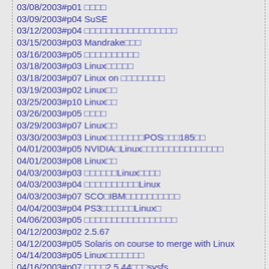03/08/2003#p01 □□□□
03/09/2003#p04 SuSE
03/12/2003#p04 □□□□□□□□□□□□□□□□□
03/15/2003#p03 Mandrake□□□
03/16/2003#p05 □□□□□□□□□□
03/18/2003#p03 Linux□□□□□
03/18/2003#p07 Linux on □□□□□□□□
03/19/2003#p02 Linux□□
03/25/2003#p10 Linux□□
03/26/2003#p05 □□□□
03/29/2003#p07 Linux□□
03/30/2003#p03 Linux□□□□□□□POS□□□185□□
04/01/2003#p05 NVIDIA□Linux□□□□□□□□□□□□□□□
04/01/2003#p08 Linux□□
04/03/2003#p03 □□□□□□Linux□□□□
04/03/2003#p04 □□□□□□□□□□Linux
04/03/2003#p07 SCO□IBM□□□□□□□□□□
04/04/2003#p04 PS3□□□□□□Linux□
04/06/2003#p05 □□□□□□□□□□□□□□□□□
04/12/2003#p02 2.5.67
04/12/2003#p05 Solaris on course to merge with Linux
04/14/2003#p05 Linux□□□□□□□
04/16/2003#p07 □□□□2.5.44□□□sysfs
04/19/2003#p07 □□□Linux□□□
04/25/2003#p07 Linux□□□□□□□□
04/25/2003#p08 □□□□□□□□□□□□ Linux □□□□□□□□